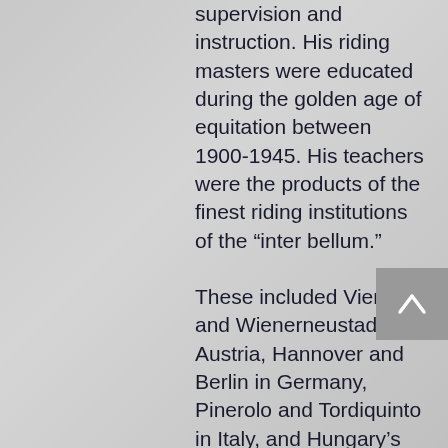supervision and instruction. His riding masters were educated during the golden age of equitation between 1900-1945. His teachers were the products of the finest riding institutions of the “inter bellum.”
These included Vienna and Wienerneustadt in Austria, Hannover and Berlin in Germany, Pinerolo and Tordiquinto in Italy, and Hungary’s Orkeny. Pal Kemery, Jeno Kosa-Reznek, Imre Bodo and Geza